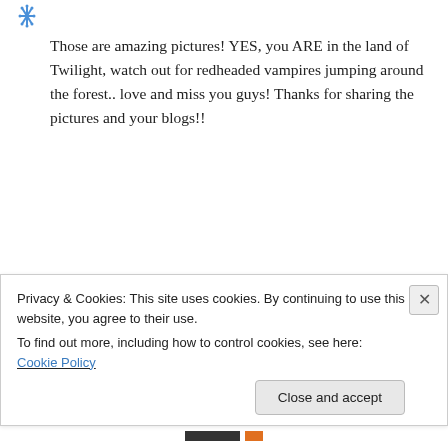[Figure (illustration): Small snowflake/star avatar icon in blue, top left corner]
Those are amazing pictures! YES, you ARE in the land of Twilight, watch out for redheaded vampires jumping around the forest.. love and miss you guys! Thanks for sharing the pictures and your blogs!!
↪ Reply
[Figure (illustration): Purple dotted circle avatar icon for Julie Payne]
Julie Payne on July 29, 2011 at 10:15 am
Ditto the pictures are incredible
Privacy & Cookies: This site uses cookies. By continuing to use this website, you agree to their use.
To find out more, including how to control cookies, see here: Cookie Policy
Close and accept